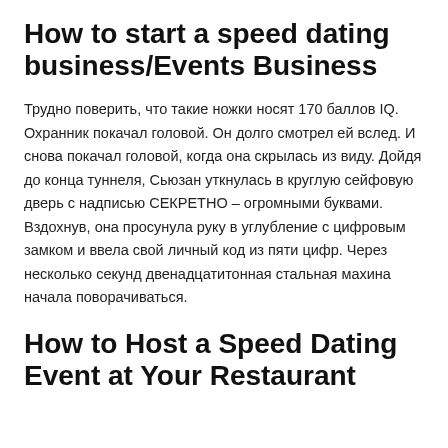How to start a speed dating business/Events Business
Трудно поверить, что такие ножки носят 170 баллов IQ. Охранник покачал головой. Он долго смотрел ей вслед. И снова покачал головой, когда она скрылась из виду. Дойдя до конца туннеля, Сьюзан уткнулась в круглую сейфовую дверь с надписью СЕКРЕТНО – огромными буквами. Вздохнув, она просунула руку в углубление с цифровым замком и ввела свой личный код из пяти цифр. Через несколько секунд двенадцатитонная стальная махина начала поворачиваться.
How to Host a Speed Dating Event at Your Restaurant